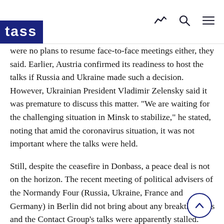TASS
were no plans to resume face-to-face meetings either, they said. Earlier, Austria confirmed its readiness to host the talks if Russia and Ukraine made such a decision. However, Ukrainian President Vladimir Zelensky said it was premature to discuss this matter. "We are waiting for the challenging situation in Minsk to stabilize," he stated, noting that amid the coronavirus situation, it was not important where the talks were held.
Still, despite the ceasefire in Donbass, a peace deal is not on the horizon. The recent meeting of political advisers of the Normandy Four (Russia, Ukraine, France and Germany) in Berlin did not bring about any breakthroughs and the Contact Group's talks were apparently stalled. According to former Ukrainian President Leonid Kravchuk, who heads the country's delegation at the Contact Group, there was a real danger that the Minsk deal would not work at all. If the Ukrainian parliament did not amend the law on local